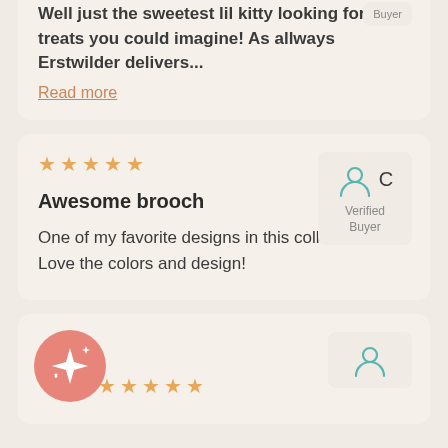Well just the sweetest lil kitty looking for treats you could imagine! As allways Erstwilder delivers...
Read more
[Figure (infographic): Five orange stars rating]
[Figure (infographic): Verified Buyer badge with person icon and letter C]
Awesome brooch
One of my favorite designs in this collection. Love the colors and design!
[Figure (infographic): Pink sparkle circle icon]
[Figure (infographic): Five orange stars rating]
[Figure (infographic): Verified Buyer badge with person icon]